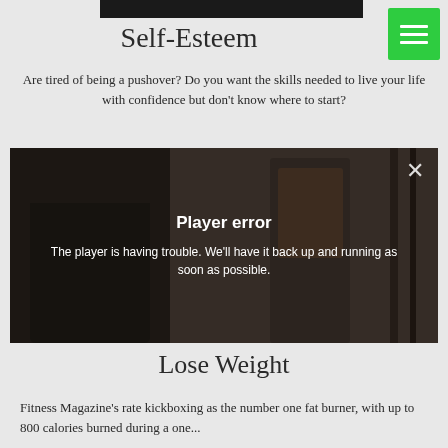[Figure (screenshot): Dark horizontal image bar at top of page]
Self-Esteem
[Figure (other): Green menu button with three horizontal lines (hamburger icon) in top right corner]
Are tired of being a pushover? Do you want the skills needed to live your life with confidence but don't know where to start?
[Figure (photo): Video player showing two women, one in jeans from behind and one in a tank top looking in a mirror. Player error overlay displayed with close X button, bold 'Player error' title and message 'The player is having trouble. We’ll have it back up and running as soon as possible.']
Lose Weight
Fitness Magazine's rate kickboxing as the number one fat burner, with up to 800 calories burned during a one...